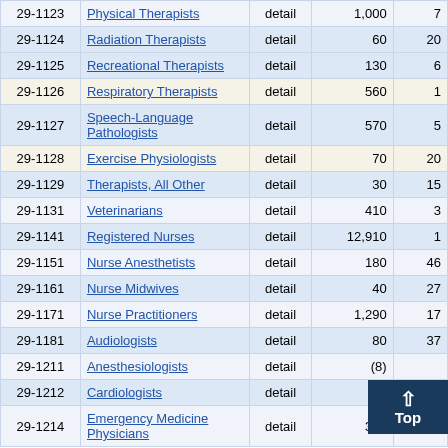| Code | Title | Type | Number |  |
| --- | --- | --- | --- | --- |
| 29-1123 | Physical Therapists | detail | 1,000 | 7 |
| 29-1124 | Radiation Therapists | detail | 60 | 20 |
| 29-1125 | Recreational Therapists | detail | 130 | 6 |
| 29-1126 | Respiratory Therapists | detail | 560 | 1 |
| 29-1127 | Speech-Language Pathologists | detail | 570 | 5 |
| 29-1128 | Exercise Physiologists | detail | 70 | 20 |
| 29-1129 | Therapists, All Other | detail | 30 | 15 |
| 29-1131 | Veterinarians | detail | 410 | 3 |
| 29-1141 | Registered Nurses | detail | 12,910 | 1 |
| 29-1151 | Nurse Anesthetists | detail | 180 | 46 |
| 29-1161 | Nurse Midwives | detail | 40 | 27 |
| 29-1171 | Nurse Practitioners | detail | 1,290 | 17 |
| 29-1181 | Audiologists | detail | 80 | 37 |
| 29-1211 | Anesthesiologists | detail | (8) |  |
| 29-1212 | Cardiologists | detail | 7 |  |
| 29-1214 | Emergency Medicine Physicians | detail | 368 | 37 |